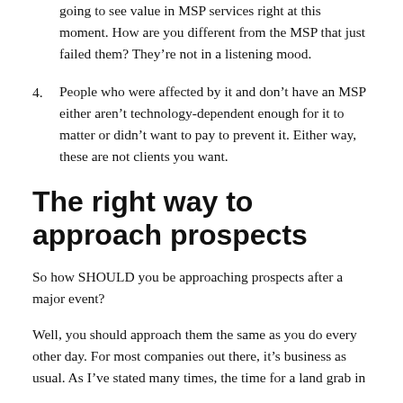going to see value in MSP services right at this moment. How are you different from the MSP that just failed them? They’re not in a listening mood.
4. People who were affected by it and don’t have an MSP either aren’t technology-dependent enough for it to matter or didn’t want to pay to prevent it. Either way, these are not clients you want.
The right way to approach prospects
So how SHOULD you be approaching prospects after a major event?
Well, you should approach them the same as you do every other day. For most companies out there, it’s business as usual. As I’ve stated many times, the time for a land grab in